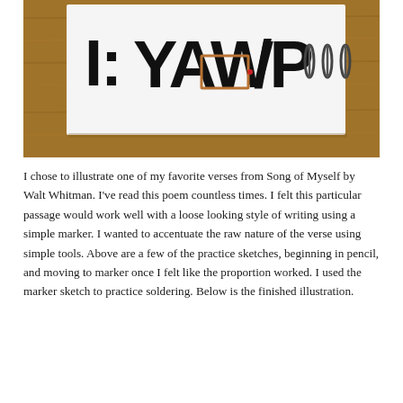[Figure (photo): A photograph of a white card or canvas with large hand-lettered text reading 'I: YAW/POND' written in thick black marker, placed on a wooden surface. A small copper-wire rectangle and safety pins are visible on the card.]
I chose to illustrate one of my favorite verses from Song of Myself by Walt Whitman. I've read this poem countless times. I felt this particular passage would work well with a loose looking style of writing using a simple marker. I wanted to accentuate the raw nature of the verse using simple tools. Above are a few of the practice sketches, beginning in pencil, and moving to marker once I felt like the proportion worked. I used the marker sketch to practice soldering. Below is the finished illustration.